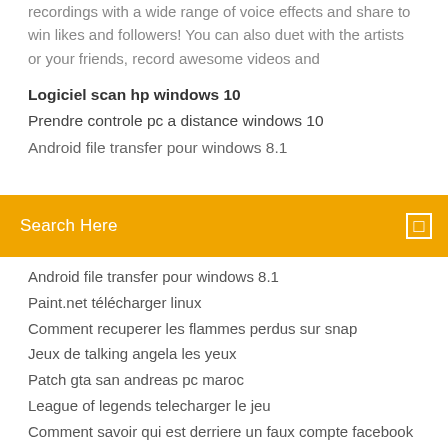recordings with a wide range of voice effects and share to win likes and followers! You can also duet with the artists or your friends, record awesome videos and
Logiciel scan hp windows 10
Prendre controle pc a distance windows 10
Android file transfer pour windows 8.1
Search Here
Android file transfer pour windows 8.1
Paint.net télécharger linux
Comment recuperer les flammes perdus sur snap
Jeux de talking angela les yeux
Patch gta san andreas pc maroc
League of legends telecharger le jeu
Comment savoir qui est derriere un faux compte facebook
Lecteur windows media 10 gratuit
Faire un patchwork de photos gratuit
Exercice en ligne pour apprendre à taper au clavier